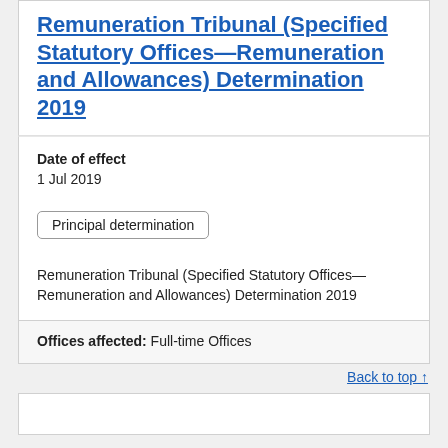Remuneration Tribunal (Specified Statutory Offices—Remuneration and Allowances) Determination 2019
Date of effect
1 Jul 2019
Principal determination
Remuneration Tribunal (Specified Statutory Offices—Remuneration and Allowances) Determination 2019
Offices affected:  Full-time Offices
Back to top ↑